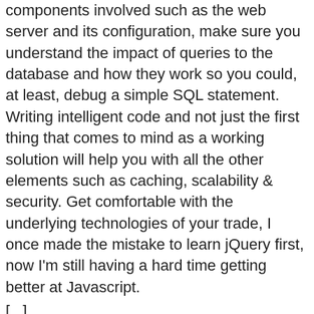components involved such as the web server and its configuration, make sure you understand the impact of queries to the database and how they work so you could, at least, debug a simple SQL statement. Writing intelligent code and not just the first thing that comes to mind as a working solution will help you with all the other elements such as caching, scalability & security. Get comfortable with the underlying technologies of your trade, I once made the mistake to learn jQuery first, now I'm still having a hard time getting better at Javascript. [...]
JavaScript JavaScript JavaScript JavaScript | j_sulz says: 10 March, 2016 at 04:01 [...] and it's breadth of functions was far from my grasp, so my journey began with following Remkus de Vries's